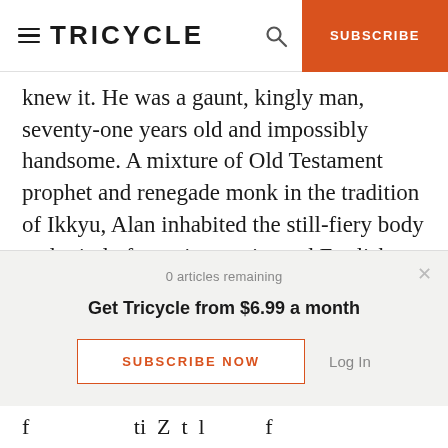TRICYCLE | SUBSCRIBE
knew it. He was a gaunt, kingly man, seventy-one years old and impossibly handsome. A mixture of Old Testament prophet and renegade monk in the tradition of Ikkyu, Alan inhabited the still-fiery body and mind of an aristocratic mad English gardener and a Shakespearean actor. Although prostate cancer was ravaging his body, Alan had come home to Green Gulch not to die but to live out and teach his remaining days.
0 articles remaining
Get Tricycle from $6.99 a month
SUBSCRIBE NOW
Log In
f                   ti  Z t  l           f